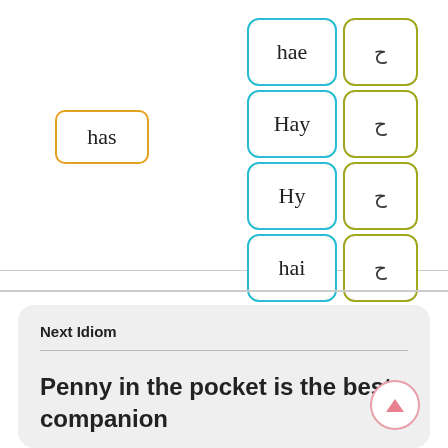[Figure (infographic): Language learning UI showing word cards. Left side: orange-bordered box with 'has'. Right side: 2x4 grid of paired buttons - blue-bordered with English words (hae, Hay, Hy, hai) and olive-bordered with Arabic script equivalents.]
Next Idiom
Penny in the pocket is the best companion